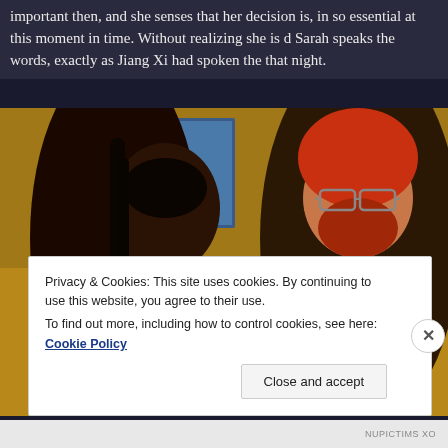important then, and she senses that her decision is, in some way, essential at this moment in time. Without realizing she is doing it, Sarah speaks the words, exactly as Jiang Xi had spoken them, that night.
[Figure (screenshot): Screenshot from a 3D animated video game (The Sims style), showing two characters seated on a couch in a living room interior. On the left is a dark-skinned woman with long black hair, looking upward. On the right is a red-haired man with glasses and a beard, wearing a dark shirt. The background shows a tan/brown wall with green frog figurines on a sideboard.]
Privacy & Cookies: This site uses cookies. By continuing to use this website, you agree to their use.
To find out more, including how to control cookies, see here: Cookie Policy
Close and accept